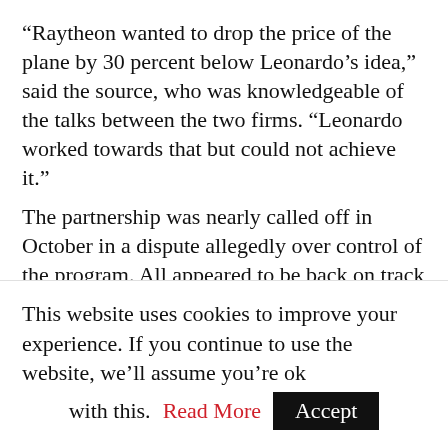“Raytheon wanted to drop the price of the plane by 30 percent below Leonardo’s idea,” said the source, who was knowledgeable of the talks between the two firms. “Leonardo worked towards that but could not achieve it.” The partnership was nearly called off in October in a dispute allegedly over control of the program. All appeared to be back on track later the same month when Raytheon announced it would build a final assembly and check out line in Mississippi. All appeared back on track later the same month when Raytheon announced it would build a final assembly and check out line in Mississippi. While
This website uses cookies to improve your experience. If you continue to use the website, we’ll assume you’re ok with this. Read More Accept